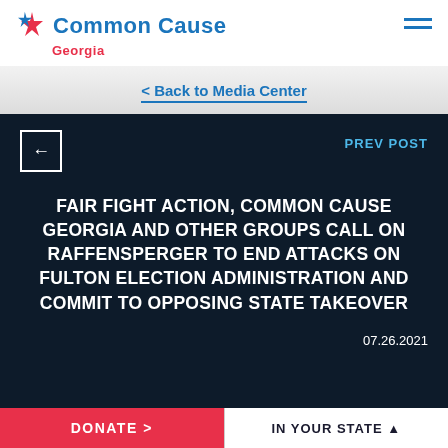Common Cause Georgia
< Back to Media Center
FAIR FIGHT ACTION, COMMON CAUSE GEORGIA AND OTHER GROUPS CALL ON RAFFENSPERGER TO END ATTACKS ON FULTON ELECTION ADMINISTRATION AND COMMIT TO OPPOSING STATE TAKEOVER
07.26.2021
DONATE >
IN YOUR STATE ▲